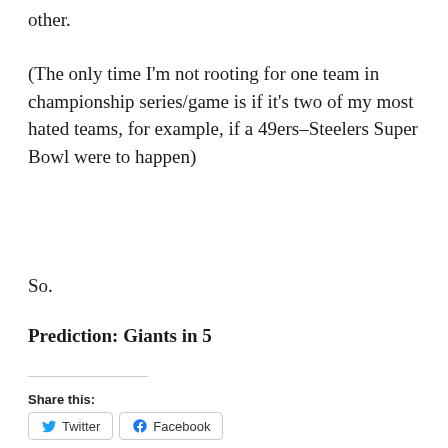other.
(The only time I'm not rooting for one team in championship series/game is if it's two of my most hated teams, for example, if a 49ers–Steelers Super Bowl were to happen)
So.
Prediction: Giants in 5
Share this:
Twitter   Facebook